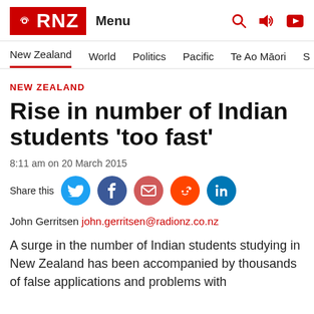RNZ Menu
New Zealand | World | Politics | Pacific | Te Ao Māori | S
NEW ZEALAND
Rise in number of Indian students 'too fast'
8:11 am on 20 March 2015
Share this
John Gerritsen john.gerritsen@radionz.co.nz
A surge in the number of Indian students studying in New Zealand has been accompanied by thousands of false applications and problems with